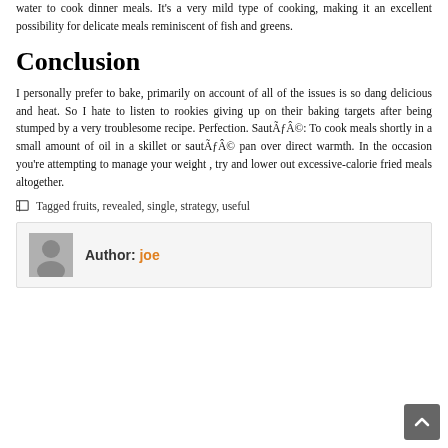water to cook dinner meals. It's a very mild type of cooking, making it an excellent possibility for delicate meals reminiscent of fish and greens.
Conclusion
I personally prefer to bake, primarily on account of all of the issues is so dang delicious and heat. So I hate to listen to rookies giving up on their baking targets after being stumped by a very troublesome recipe. Perfection. SautéÂ©: To cook meals shortly in a small amount of oil in a skillet or sautéÂ© pan over direct warmth. In the occasion you're attempting to manage your weight , try and lower out excessive-calorie fried meals altogether.
Tagged fruits, revealed, single, strategy, useful
Author: joe